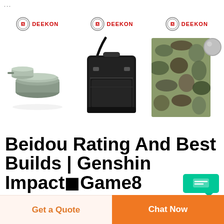[Figure (screenshot): Three Deekon branded product advertisements side by side: military cookware set, black tactical bag, and camouflage fabric with color swatch]
Beidou Rating And Best Builds | Genshin Impact■Game8
Beidou Rating and Best Builds | Genshin Impact. See all the latest news on Genshin Impact here! Beidou is a 4-star Electro Claymore character in Genshin Impact. Learn about Beidou here...
Get a Quote
Chat Now